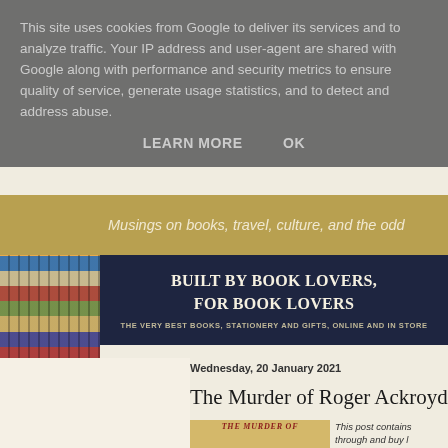This site uses cookies from Google to deliver its services and to analyze traffic. Your IP address and user-agent are shared with Google along with performance and security metrics to ensure quality of service, generate usage statistics, and to detect and address abuse.
LEARN MORE    OK
Musings on books, travel, culture, and the odd
BUILT BY BOOK LOVERS, FOR BOOK LOVERS
THE VERY BEST BOOKS, STATIONERY AND GIFTS, ONLINE AND IN STORE
Wednesday, 20 January 2021
The Murder of Roger Ackroyd, Agatha
This post contains through and buy l